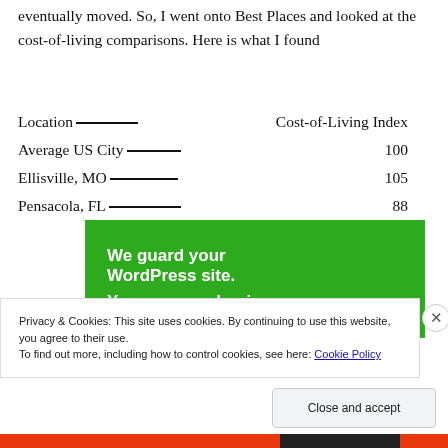eventually moved. So, I went onto Best Places and looked at the cost-of-living comparisons. Here is what I found
| Location | Cost-of-Living Index |
| --- | --- |
| Average US City | 100 |
| Ellisville, MO | 105 |
| Pensacola, FL | 88 |
[Figure (screenshot): Green advertisement banner with white bold text: 'We guard your WordPress site. You run your business.']
Privacy & Cookies: This site uses cookies. By continuing to use this website, you agree to their use.
To find out more, including how to control cookies, see here: Cookie Policy
Close and accept